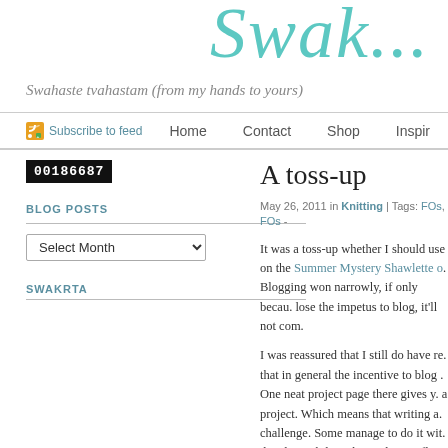[Figure (logo): Blog logo in teal cursive script lettering reading 'Swak...' (partial, cropped)]
Swahaste tvahastam (from my hands to yours)
Subscribe to feed | Home | Contact | Shop | Inspir...
00186687
BLOG POSTS
Select Month
SWAKRTA
A toss-up
May 26, 2011 in Knitting | Tags: FOs, FOs -
It was a toss-up whether I should use on the Summer Mystery Shawlette o. Blogging won narrowly, if only becau. lose the impetus to blog, it'll not com.
I was reassured that I still do have re. that in general the incentive to blog . One neat project page there gives y. a project. Which means that writing a. challenge. Some manage to do it wit. details or philosophy, and some floo. those; my writing is technically fine b. comfortable sharing. my personal lif.